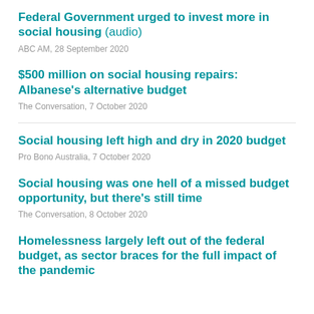Federal Government urged to invest more in social housing (audio)
ABC AM, 28 September 2020
$500 million on social housing repairs: Albanese's alternative budget
The Conversation, 7 October 2020
Social housing left high and dry in 2020 budget
Pro Bono Australia, 7 October 2020
Social housing was one hell of a missed budget opportunity, but there's still time
The Conversation, 8 October 2020
Homelessness largely left out of the federal budget, as sector braces for the full impact of the pandemic